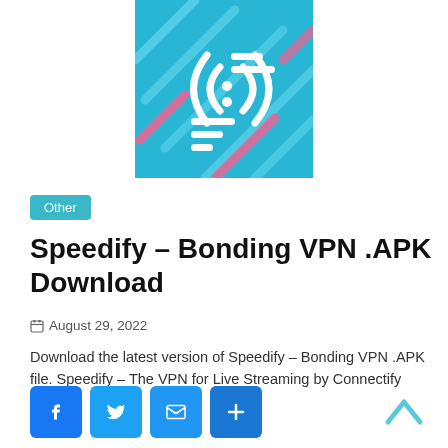[Figure (illustration): Speedify app icon on a blue background with diagonal colorful dashes and a stylized wireless/speed symbol in white]
Other
Speedify – Bonding VPN .APK Download
August 29, 2022
Download the latest version of Speedify – Bonding VPN .APK file. Speedify – The VPN for Live Streaming by Connectify
[Figure (infographic): Social share buttons: Facebook, Twitter, Email, Share (plus)]